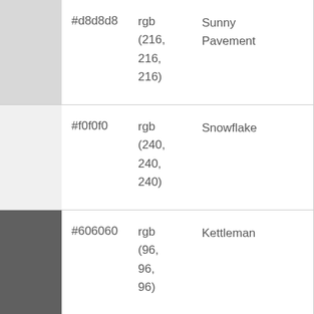| Swatch | Hex | RGB | Name |
| --- | --- | --- | --- |
| #d8d8d8 | #d8d8d8 | rgb(216, 216, 216) | Sunny Pavement |
| #f0f0f0 | #f0f0f0 | rgb(240, 240, 240) | Snowflake |
| #606060 | #606060 | rgb(96, 96, 96) | Kettleman |